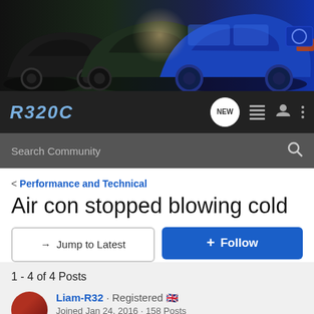[Figure (photo): Banner image showing three Volkswagen cars (black, dark grey/green, blue) on a track with dramatic lighting]
R32OC | NEW | navigation icons | Search Community
< Performance and Technical
Air con stopped blowing cold
→ Jump to Latest | + Follow
1 - 4 of 4 Posts
Liam-R32 · Registered 🇬🇧
Joined Jan 24, 2016 · 158 Posts